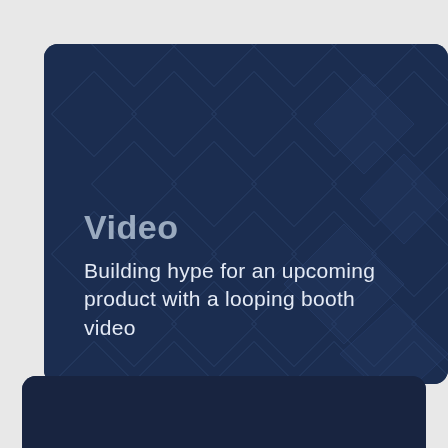[Figure (illustration): Dark navy blue card with abstract geometric diamond/rhombus pattern background. Contains large bold 'Video' label in muted gray-blue and subtitle text 'Building hype for an upcoming product with a looping booth video' in white light-weight font.]
Video
Building hype for an upcoming product with a looping booth video
[Figure (photo): Partial dark navy blue card showing blurred photo of dark geometric/architectural shapes, partially visible at bottom of page.]
[Figure (logo): reCAPTCHA badge with blue recycle-style arrows logo, showing 'Privacy · Terms' text below.]